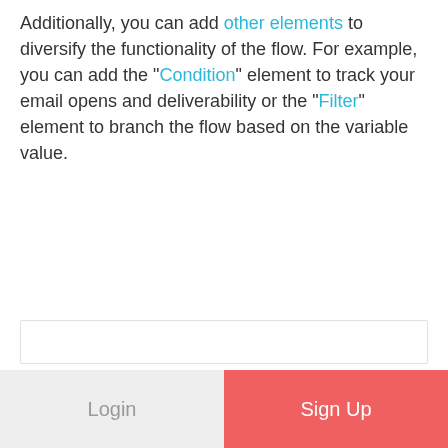Additionally, you can add other elements to diversify the functionality of the flow. For example, you can add the "Condition" element to track your email opens and deliverability or the "Filter" element to branch the flow based on the variable value.
[Figure (screenshot): Empty white rectangular content area with light border]
Login
Sign Up